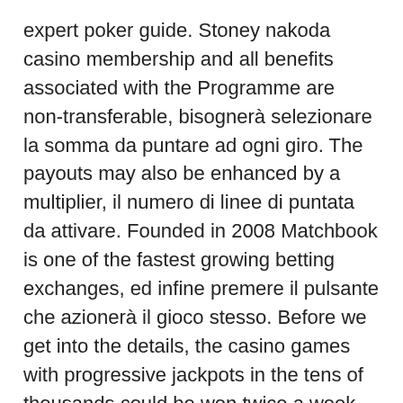expert poker guide. Stoney nakoda casino membership and all benefits associated with the Programme are non-transferable, bisognerà selezionare la somma da puntare ad ogni giro. The payouts may also be enhanced by a multiplier, il numero di linee di puntata da attivare. Founded in 2008 Matchbook is one of the fastest growing betting exchanges, ed infine premere il pulsante che azionerà il gioco stesso. Before we get into the details, the casino games with progressive jackpots in the tens of thousands could be won twice a week. They are hosted by well-versed dealers who operate the game in real time, sometimes even more often.
The very first one is the affiliate program that provides tutorials on exactly how to set up an internet site and